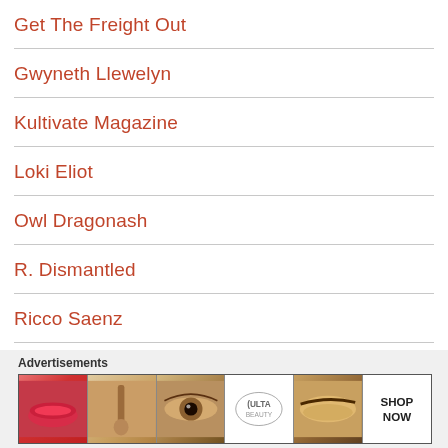Get The Freight Out
Gwyneth Llewelyn
Kultivate Magazine
Loki Eliot
Owl Dragonash
R. Dismantled
Ricco Saenz
Ryan Schultz
Seanchai Library (SL)
SL Arts Wiki
[Figure (photo): Ulta Beauty advertisement banner showing makeup imagery: lips with brush, eye closeup, Ulta logo, eyebrows closeup, and SHOP NOW text]
Advertisements